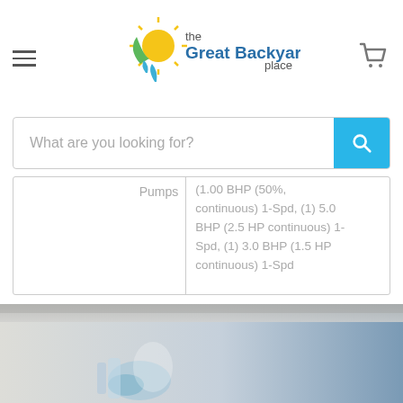[Figure (logo): The Great Backyard Place logo with sun, leaf and water drop icons]
What are you looking for?
| Pumps |  |
| --- | --- |
|  | (1.00 BHP (50%), continuous) 1-Spd, (1) 5.0 BHP (2.5 HP continuous) 1-Spd, (1) 3.0 BHP (1.5 HP continuous) 1-Spd |
[Figure (photo): Blurred photo of spa or hot tub components including a blue plastic fitting/nozzle]